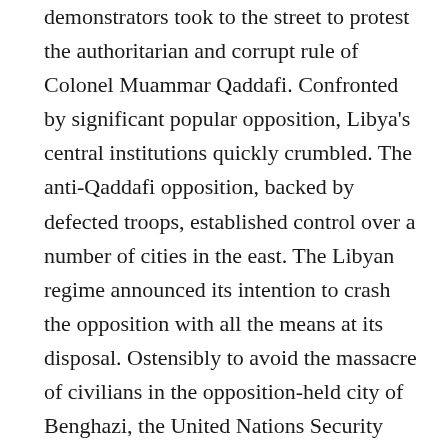demonstrators took to the street to protest the authoritarian and corrupt rule of Colonel Muammar Qaddafi. Confronted by significant popular opposition, Libya's central institutions quickly crumbled. The anti-Qaddafi opposition, backed by defected troops, established control over a number of cities in the east. The Libyan regime announced its intention to crash the opposition with all the means at its disposal. Ostensibly to avoid the massacre of civilians in the opposition-held city of Benghazi, the United Nations Security Council authorized foreign military intervention in support of the anti-Qaddafi forces. The ensuing armed conflict lasted for months and ended only in October 2011 with the killing of Qaddafi himself. Since then, Libyan interim authorities have failed to